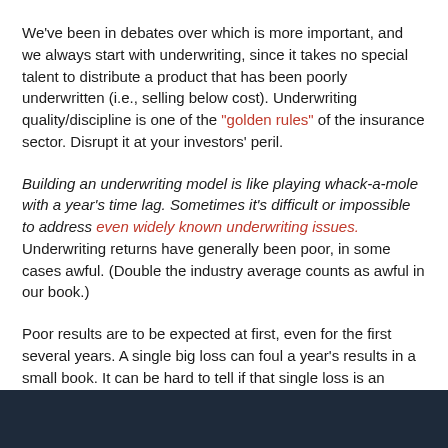We've been in debates over which is more important, and we always start with underwriting, since it takes no special talent to distribute a product that has been poorly underwritten (i.e., selling below cost). Underwriting quality/discipline is one of the "golden rules" of the insurance sector. Disrupt it at your investors' peril.
Building an underwriting model is like playing whack-a-mole with a year's time lag. Sometimes it's difficult or impossible to address even widely known underwriting issues. Underwriting returns have generally been poor, in some cases awful. (Double the industry average counts as awful in our book.)
Poor results are to be expected at first, even for the first several years. A single big loss can foul a year's results in a small book. It can be hard to tell if that single loss is an anomaly or a failure in the model. Building an underwriting model is like playing whack-a-mole with a year's time lag. Sometimes it's difficult or impossible to address even widely known underwriting issues.